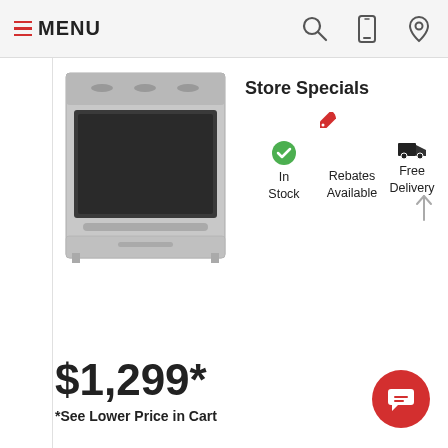MENU
[Figure (photo): Stainless steel slide-in range/oven appliance]
Store Specials
In Stock
Rebates Available
Free Delivery
$1,299*
*See Lower Price in Cart